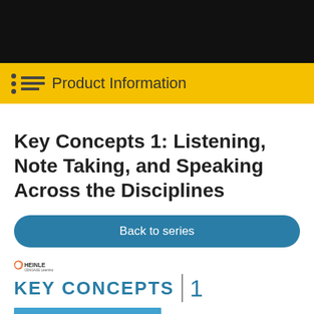Product Information
Key Concepts 1: Listening, Note Taking, and Speaking Across the Disciplines
Back to series
[Figure (illustration): Book cover preview showing Heinle Cengage Learning logo, KEY CONCEPTS 1 header in blue, and partial book cover with blue sky background and text 'LISTENING, NOTE TAKING, AND SPEAKING ACROSS THE DISCIPLINES']